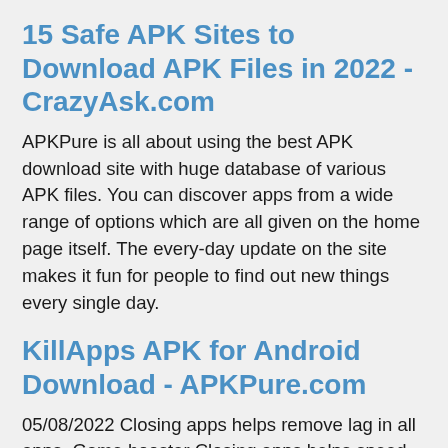15 Safe APK Sites to Download APK Files in 2022 - CrazyAsk.com
APKPure is all about using the best APK download site with huge database of various APK files. You can discover apps from a wide range of options which are all given on the home page itself. The every-day update on the site makes it fun for people to find out new things every single day.
KillApps APK for Android Download - APKPure.com
05/08/2022 Closing apps helps remove lag in all apps. Game booster Closing apps helps speed up games and boost gaming performance. KillApps Pro The pro version of kill-Apps will let you kill all apps, both user apps and system apps. Force